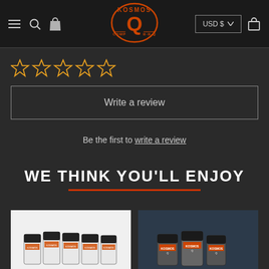Kosmos Q — USD $ — Navigation header
[Figure (other): Five orange outlined star icons (empty/unfilled rating stars)]
Write a review
Be the first to write a review
WE THINK YOU'LL ENJOY
[Figure (photo): Product photo of multiple Kosmos Q spice rub jars on white background]
[Figure (photo): Product photo of Kosmos Q spice jars on dark background]